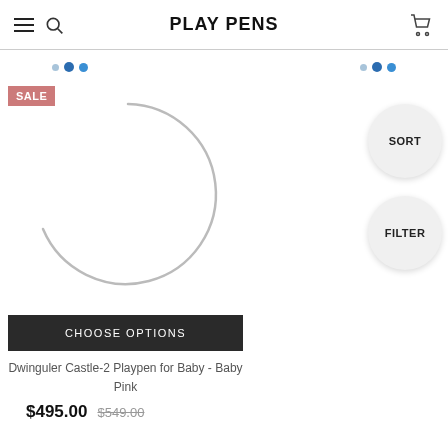PLAY PENS
[Figure (screenshot): E-commerce product listing page for play pens showing navigation header with hamburger menu, search icon, PLAY PENS title, cart icon. Two dot indicator groups (pagination dots). A product card with SALE badge, circular loading arc image placeholder, CHOOSE OPTIONS button, product name 'Dwinguler Castle-2 Playpen for Baby - Baby Pink', price $495.00 with strikethrough $549.00. SORT and FILTER circular buttons on the right.]